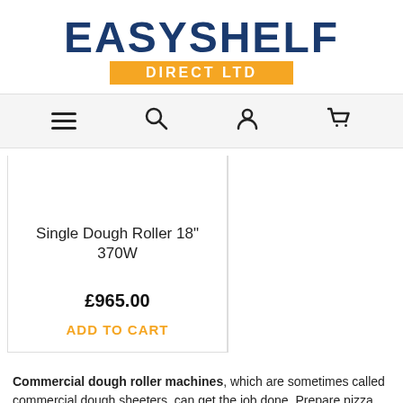[Figure (logo): EasyShelf Direct Ltd logo with navy blue EASYSHELF text and orange DIRECT LTD banner]
Navigation bar with hamburger menu, search, account, and cart icons
Single Dough Roller 18" 370W
£965.00
ADD TO CART
Commercial dough roller machines, which are sometimes called commercial dough sheeters, can get the job done. Prepare pizza dough, pie crusts, bread, and bun dough faster than ever with our selection of dough sheeters, rounders, and dividers. These units are